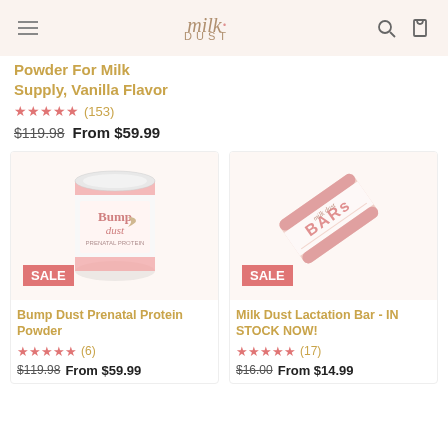milk DUST — navigation header with hamburger menu, logo, search and cart icons
Powder For Milk Supply, Vanilla Flavor
★★★★★ (153)
$119.98  From $59.99
[Figure (photo): Bump Dust prenatal protein powder container with pink label, showing SALE badge]
Bump Dust Prenatal Protein Powder
★★★★★ (6)
$119.98  From $59.99
[Figure (photo): Milk Dust Lactation Bar wrapper at an angle showing SALE badge]
Milk Dust Lactation Bar - IN STOCK NOW!
★★★★★ (17)
$16.00  From $14.99